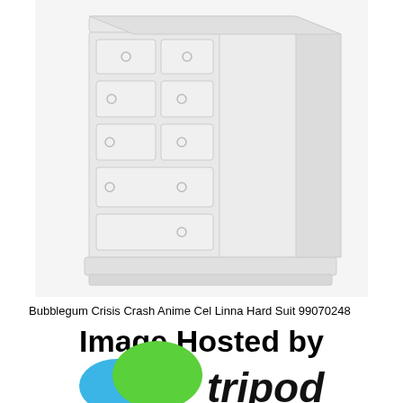[Figure (photo): A white wooden chest of drawers / dresser with multiple drawers and round knob handles, shown in a light blurred photograph on a white background.]
Bubblegum Crisis Crash Anime Cel Linna Hard Suit 99070248
[Figure (logo): Image Hosted by Tripod logo — bold black text 'Image Hosted by' above a Tripod logo with blue and green circular shapes and bold italic black text 'tripod'.]